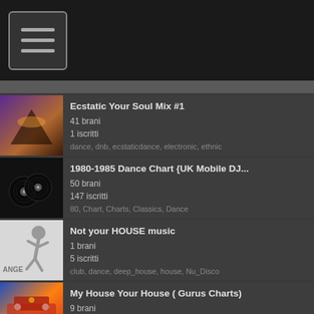[Figure (screenshot): Hamburger menu icon button in top navigation bar]
Ecstatic Your Soul Mix #1 | 41 brani | 1 iscritti | dance, dnb, ecstaticdance, electronic, ethnic
1980-1985 Dance Chart {UK Mobile DJ... | 50 brani | 147 iscritti | 80, Chart, Charts, Classics, Dance
Not your HOUSE music | 1 brani | 5 iscritti | club, dance, deep_house, house, Nu_Disco
My House Your House ( Gurus Charts) | 9 brani | 19 iscritti | Afro, Club, Dance, Deep, Dub
Saturday Night DJ Set